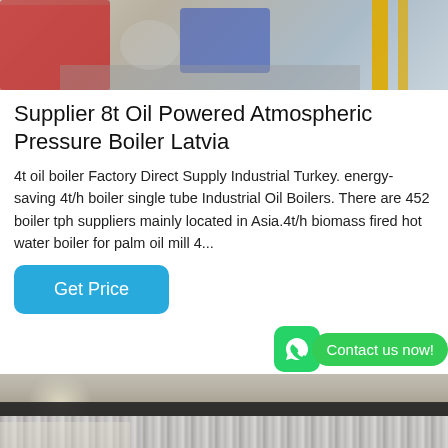[Figure (photo): Industrial boiler machinery photo showing red and blue components with yellow pipes]
Supplier 8t Oil Powered Atmospheric Pressure Boiler Latvia
4t oil boiler Factory Direct Supply Industrial Turkey. energy-saving 4t/h boiler single tube Industrial Oil Boilers. There are 452 boiler tph suppliers mainly located in Asia.4t/h biomass fired hot water boiler for palm oil mill 4...
[Figure (other): Get Price button - blue rounded rectangle button with white text]
[Figure (other): WhatsApp contact icon (green) and Contact us now! green bubble]
[Figure (photo): Industrial boiler facility interior showing metallic corrugated pipes and industrial equipment]